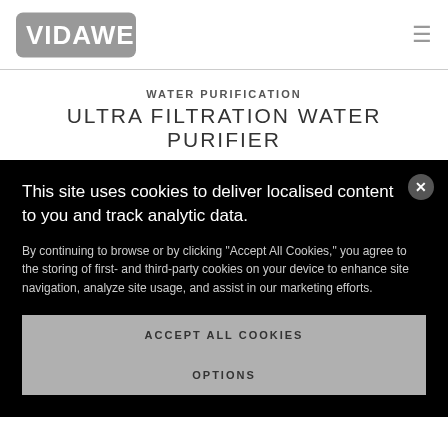VIDAWELL
WATER PURIFICATION
ULTRA FILTRATION WATER PURIFIER
This site uses cookies to deliver localised content to you and track analytic data.
By continuing to browse or by clicking “Accept All Cookies,” you agree to the storing of first- and third-party cookies on your device to enhance site navigation, analyze site usage, and assist in our marketing efforts.
ACCEPT ALL COOKIES
OPTIONS